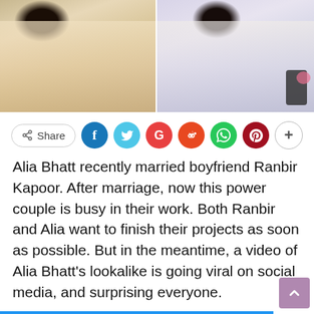[Figure (photo): Two side-by-side photos: left shows a woman in a white/cream outfit with long dark hair; right shows a woman in a white flowing dress holding a phone.]
[Figure (infographic): Social share bar with Share button, Facebook (blue), Twitter (cyan), Google (red), Reddit (orange-red), WhatsApp (green), Pinterest (dark red) circles, and a + more button.]
Alia Bhatt recently married boyfriend Ranbir Kapoor. After marriage, now this power couple is busy in their work. Both Ranbir and Alia want to finish their projects as soon as possible. But in the meantime, a video of Alia Bhatt's lookalike is going viral on social media, and surprising everyone.